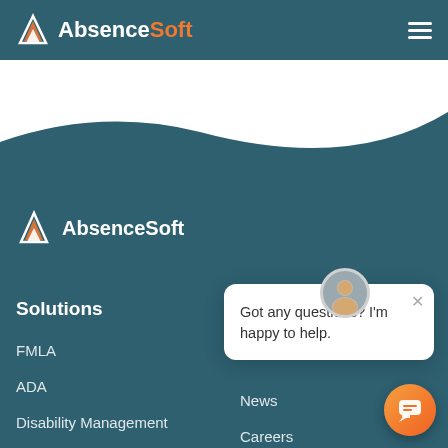AbsenceSoft
[Figure (logo): AbsenceSoft logo with orange/white mountain triangle icon and text AbsenceSoft in white and orange]
[Figure (illustration): White wave shape dividing teal header area from page content]
[Figure (logo): AbsenceSoft footer logo with triangle icon and white text AbsenceSoft]
Solutions
FMLA
ADA
Disability Management
Workers' Comp
Employee Self-Service
News
Careers
Privacy Policy
[Figure (screenshot): Live chat popup with avatar photo of smiling woman, close X button, and text: Got any questions? I'm happy to help.]
Got any questions? I'm happy to help.